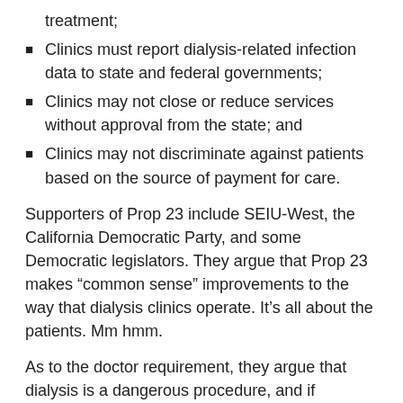treatment;
Clinics must report dialysis-related infection data to state and federal governments;
Clinics may not close or reduce services without approval from the state; and
Clinics may not discriminate against patients based on the source of payment for care.
Supporters of Prop 23 include SEIU-West, the California Democratic Party, and some Democratic legislators. They argue that Prop 23 makes “common sense” improvements to the way that dialysis clinics operate. It’s all about the patients. Mm hmm.
As to the doctor requirement, they argue that dialysis is a dangerous procedure, and if something goes wrong, a doctor or highly trained nurse should be nearby. As for the